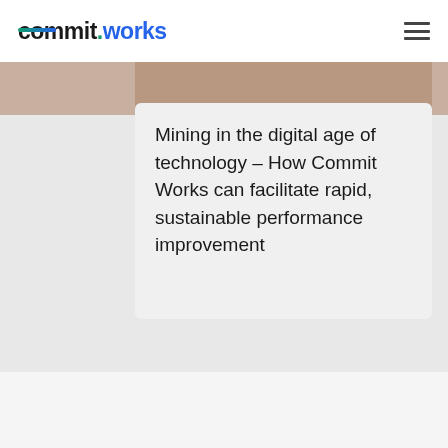commit.works
[Figure (photo): Partial view of a photo showing people, clipped at the top of the card area]
Mining in the digital age of technology – How Commit Works can facilitate rapid, sustainable performance improvement